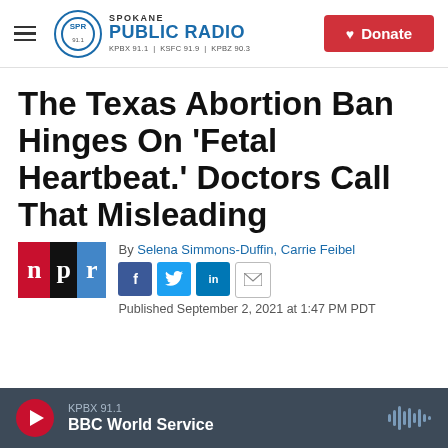Spokane Public Radio — KPBX 91.1 | KSFC 91.9 | KPBZ 90.3 | Donate
The Texas Abortion Ban Hinges On 'Fetal Heartbeat.' Doctors Call That Misleading
By Selena Simmons-Duffin, Carrie Feibel
Published September 2, 2021 at 1:47 PM PDT
[Figure (logo): NPR logo with red N, black P, blue R blocks]
[Figure (logo): Spokane Public Radio logo with SPR circular seal and text]
KPBX 91.1 BBC World Service